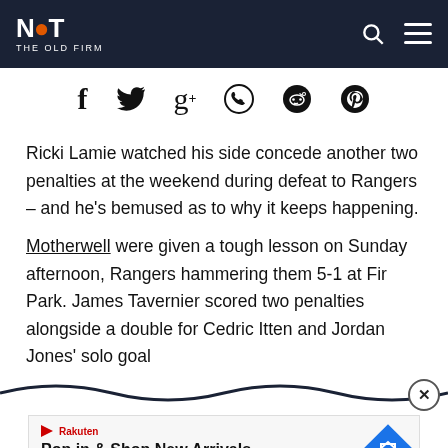NOT THE OLD FIRM
[Figure (other): Social sharing icons: Facebook, Twitter, Google+, WhatsApp, Reddit, Pinterest]
Ricki Lamie watched his side concede another two penalties at the weekend during defeat to Rangers – and he's bemused as to why it keeps happening.
Motherwell were given a tough lesson on Sunday afternoon, Rangers hammering them 5-1 at Fir Park. James Tavernier scored two penalties alongside a double for Cedric Itten and Jordan Jones' solo goal
[Figure (other): Wave/squiggle decorative divider with close (X) button]
[Figure (other): Advertisement banner: Pop in & Shop New Arrivals - World Market]